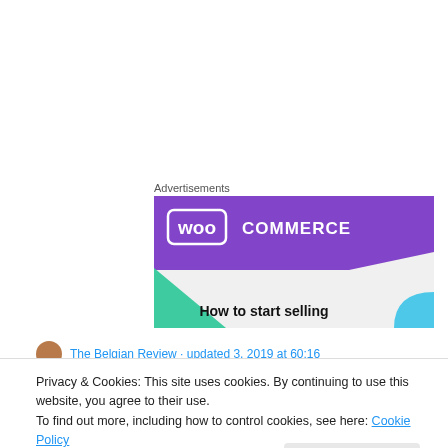Advertisements
[Figure (illustration): WooCommerce advertisement banner showing the WooCommerce logo on a purple background with green and blue triangular accents, and text 'How to start selling']
Privacy & Cookies: This site uses cookies. By continuing to use this website, you agree to their use.
To find out more, including how to control cookies, see here: Cookie Policy
Close and accept